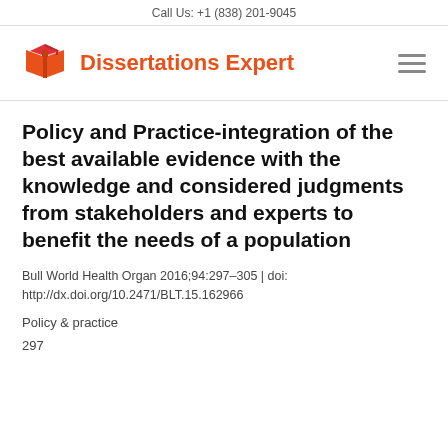Call Us: +1 (838) 201-9045
[Figure (logo): Dissertations Expert logo with red open book icon and orange bold text reading 'Dissertations Expert', plus hamburger menu icon on the right]
Policy and Practice-integration of the best available evidence with the knowledge and considered judgments from stakeholders and experts to benefit the needs of a population
Bull World Health Organ 2016;94:297–305 | doi: http://dx.doi.org/10.2471/BLT.15.162966
Policy & practice
297